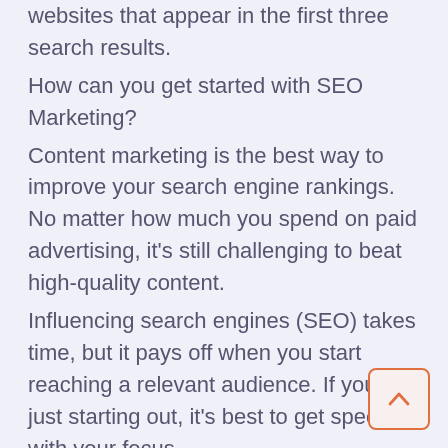websites that appear in the first three search results.
How can you get started with SEO Marketing?
Content marketing is the best way to improve your search engine rankings. No matter how much you spend on paid advertising, it’s still challenging to beat high-quality content.
Influencing search engines (SEO) takes time, but it pays off when you start reaching a relevant audience. If you’re just starting out, it’s best to get specific with your focus.
Here’s a tip: don’t write about general buying topics. For SEO results, the most common phrase you’ll hear is “quality